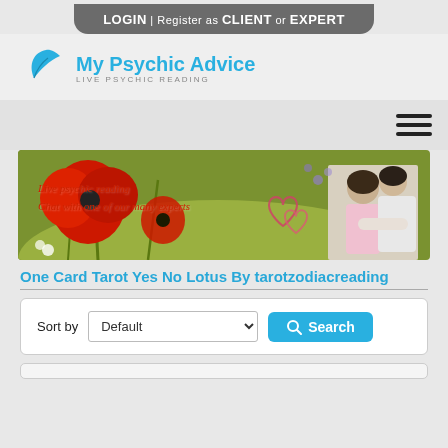LOGIN | Register as CLIENT or EXPERT
[Figure (logo): My Psychic Advice logo with blue leaf icon and tagline LIVE PSYCHIC READING]
[Figure (photo): Banner image with red poppy flowers and a couple embracing outdoors. Overlay text: 'Live psychic reading / Chat with one of our many experts']
One Card Tarot Yes No Lotus By tarotzodiacreading
Sort by Default [dropdown] Search [button]
[Figure (screenshot): Partial view of a card listing at the bottom of the page]